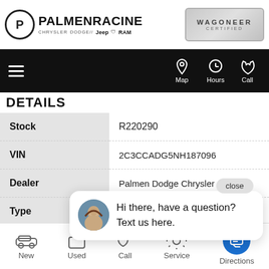PALMEN RACINE — Chrysler Dodge Jeep Ram | Wagoneer Certified
DETAILS
| Field | Value |
| --- | --- |
| Stock | R220290 |
| VIN | 2C3CCADG5NH187096 |
| Dealer | Palmen Dodge Chrysler Jeep of... |
| Type |  |
Hi there, have a question? Text us here.
New | Used | Call | Service | Directions